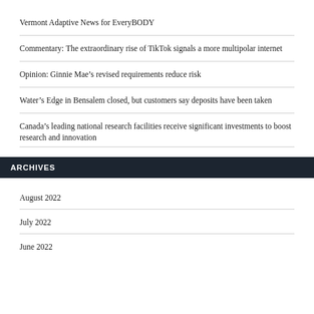Vermont Adaptive News for EveryBODY
Commentary: The extraordinary rise of TikTok signals a more multipolar internet
Opinion: Ginnie Mae's revised requirements reduce risk
Water's Edge in Bensalem closed, but customers say deposits have been taken
Canada's leading national research facilities receive significant investments to boost research and innovation
ARCHIVES
August 2022
July 2022
June 2022